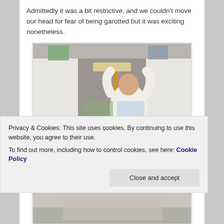Admittedly it was a bit restrictive, and we couldn't move our head for fear of being garotted but it was exciting nonetheless.
[Figure (photo): Person seen from behind inside a vehicle or van, reaching up toward ceiling. White shirt, surrounded by panels and interior vehicle structure. Colorful fabric and equipment visible at top.]
Privacy & Cookies: This site uses cookies. By continuing to use this website, you agree to their use.
To find out more, including how to control cookies, see here: Cookie Policy
[Figure (photo): Bottom strip of another photo partially visible at the bottom of the page.]